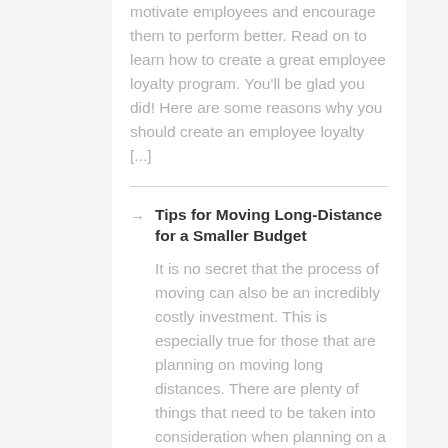motivate employees and encourage them to perform better. Read on to learn how to create a great employee loyalty program. You'll be glad you did! Here are some reasons why you should create an employee loyalty [...]
Tips for Moving Long-Distance for a Smaller Budget
It is no secret that the process of moving can also be an incredibly costly investment. This is especially true for those that are planning on moving long distances. There are plenty of things that need to be taken into consideration when planning on a move. Such factors include whether or not to hire movers, [...]